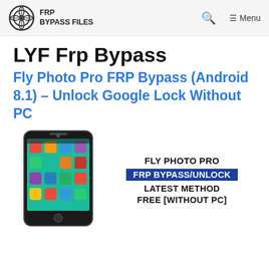FRP BYPASS FILES
LYF Frp Bypass
Fly Photo Pro FRP Bypass (Android 8.1) – Unlock Google Lock Without PC
[Figure (photo): Smartphone (Fly Photo Pro) with a colorful home screen, and overlay text: FLY PHOTO PRO / FRP BYPASS/UNLOCK / LATEST METHOD / FREE [WITHOUT PC]]